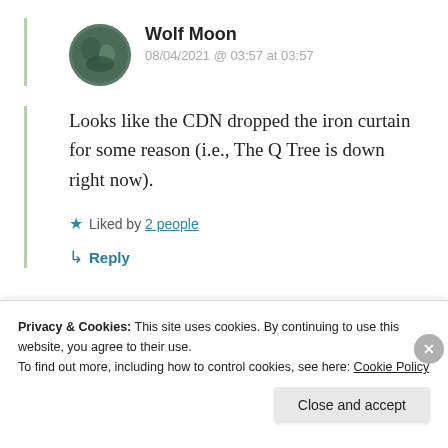[Figure (photo): Circular avatar photo of Wolf Moon user, showing a nature/wildlife image with dark greens and blues]
Wolf Moon
08/04/2021 @ 03:57 at 03:57
Looks like the CDN dropped the iron curtain for some reason (i.e., The Q Tree is down right now).
★ Liked by 2 people
↳ Reply
Privacy & Cookies: This site uses cookies. By continuing to use this website, you agree to their use.
To find out more, including how to control cookies, see here: Cookie Policy
Close and accept